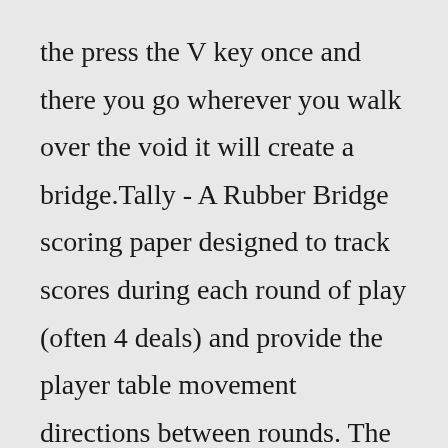the press the V key once and there you go wherever you walk over the void it will create a bridge.Tally - A Rubber Bridge scoring paper designed to track scores during each round of play (often 4 deals) and provide the player table movement directions between rounds. The following tallies are free downloadable files, available for you to print for your next game: Two Table Bridge Tally (8 players) Three Table